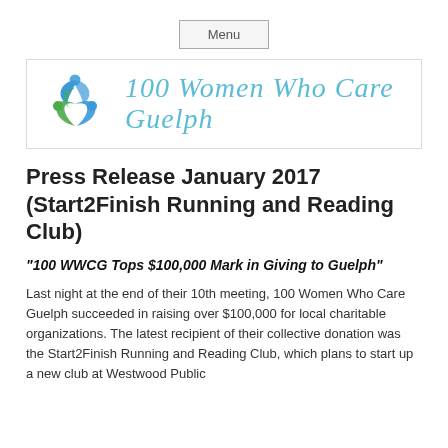Menu
[Figure (logo): 100 Women Who Care Guelph logo with circular icon in green and blue, and cursive text '100 Women Who Care Guelph' in teal/blue]
Press Release January 2017 (Start2Finish Running and Reading Club)
“100 WWCG Tops $100,000 Mark in Giving to Guelph”
Last night at the end of their 10th meeting, 100 Women Who Care Guelph succeeded in raising over $100,000 for local charitable organizations. The latest recipient of their collective donation was the Start2Finish Running and Reading Club, which plans to start up a new club at Westwood Public